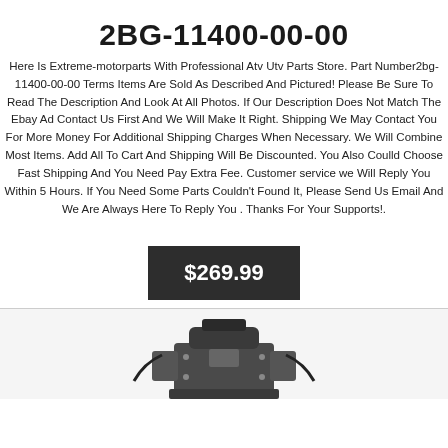2BG-11400-00-00
Here Is Extreme-motorparts With Professional Atv Utv Parts Store. Part Number2bg-11400-00-00 Terms Items Are Sold As Described And Pictured! Please Be Sure To Read The Description And Look At All Photos. If Our Description Does Not Match The Ebay Ad Contact Us First And We Will Make It Right. Shipping We May Contact You For More Money For Additional Shipping Charges When Necessary. We Will Combine Most Items. Add All To Cart And Shipping Will Be Discounted. You Also Coulld Choose Fast Shipping And You Need Pay Extra Fee. Customer service we Will Reply You Within 5 Hours. If You Need Some Parts Couldn't Found It, Please Send Us Email And We Are Always Here To Reply You . Thanks For Your Supports!.
$269.99
[Figure (photo): Photo of an ATV/UTV engine part (motor/carburetor assembly) shown partially at the bottom of the page]